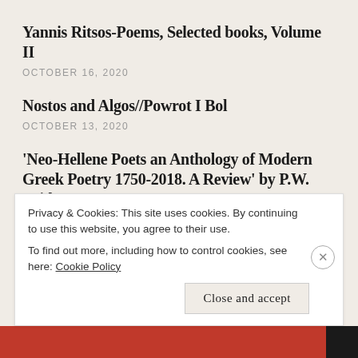Yannis Ritsos-Poems, Selected books, Volume II
OCTOBER 16, 2020
Nostos and Algos//Powrot I Bol
OCTOBER 13, 2020
'Neo-Hellene Poets an Anthology of Modern Greek Poetry 1750-2018. A Review' by P.W. Bridgman
OCTOBER 4, 2020
Advertisements
Privacy & Cookies: This site uses cookies. By continuing to use this website, you agree to their use.
To find out more, including how to control cookies, see here: Cookie Policy
Close and accept